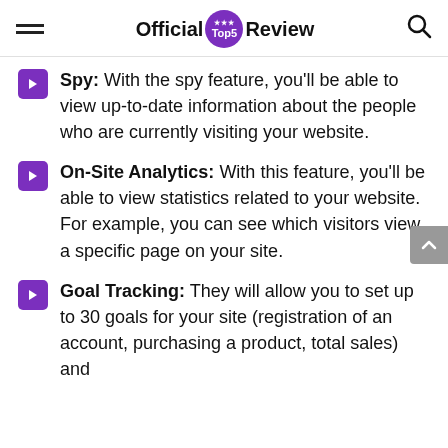Official Top5 Review
Spy: With the spy feature, you'll be able to view up-to-date information about the people who are currently visiting your website.
On-Site Analytics: With this feature, you'll be able to view statistics related to your website. For example, you can see which visitors view a specific page on your site.
Goal Tracking: They will allow you to set up to 30 goals for your site (registration of an account, purchasing a product, total sales) and